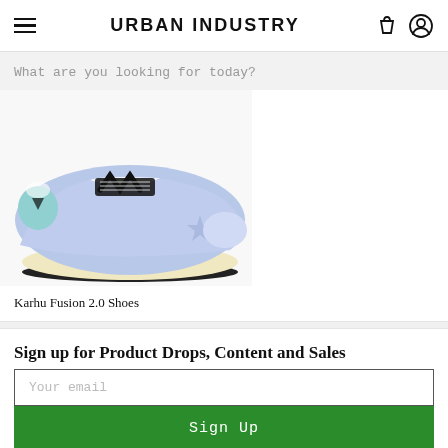URBAN INDUSTRY
What are you looking for today?
[Figure (photo): Karhu Fusion 2.0 sneaker shoe in light blue/lavender with black laces and cream sole, side view]
Karhu Fusion 2.0 Shoes
Sign up for Product Drops, Content and Sales
Your email
Sign Up
Get in touch
Live Chat